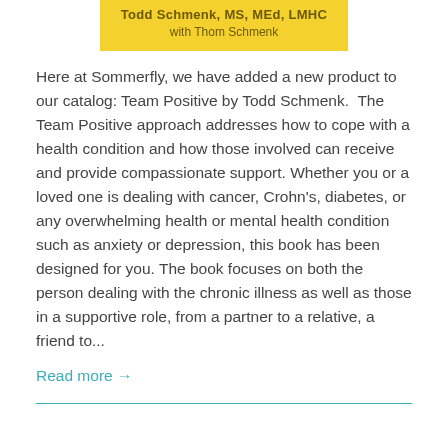[Figure (other): Yellow banner with author name Todd Schmenk, MS, MEd, LMHC and with Thom Schmenk]
Here at Sommerfly, we have added a new product to our catalog: Team Positive by Todd Schmenk. The Team Positive approach addresses how to cope with a health condition and how those involved can receive and provide compassionate support. Whether you or a loved one is dealing with cancer, Crohn's, diabetes, or any overwhelming health or mental health condition such as anxiety or depression, this book has been designed for you. The book focuses on both the person dealing with the chronic illness as well as those in a supportive role, from a partner to a relative, a friend to...
Read more →